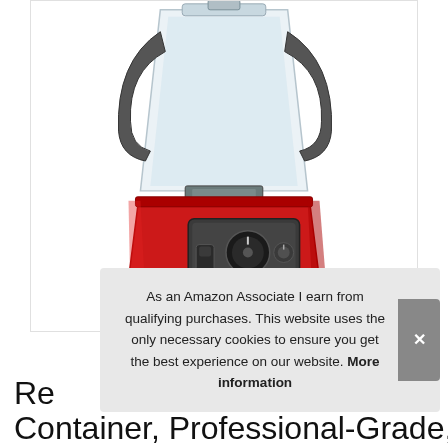[Figure (photo): A red Vitamix professional-grade blender with clear container/jar, black handle, control knobs and switches on the red base, and black rubber feet. The blender is photographed on a white background.]
As an Amazon Associate I earn from qualifying purchases. This website uses the only necessary cookies to ensure you get the best experience on our website. More information
Re...Container, Professional-Grade, Vitamix